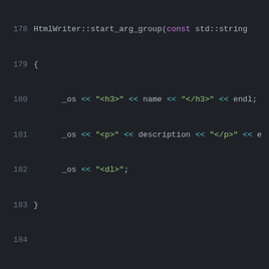[Figure (screenshot): Code editor screenshot showing C++ source code for HtmlWriter class methods (lines 178-205), with syntax highlighting on a dark background. Methods shown: start_arg_group, arg_group_item, start_extra_arg, extra_arg_enum.]